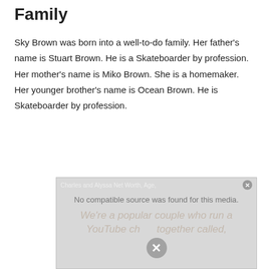Family
Sky Brown was born into a well-to-do family. Her father's name is Stuart Brown. He is a Skateboarder by profession. Her mother's name is Miko Brown. She is a homemaker. Her younger brother's name is Ocean Brown. He is Skateboarder by profession.
[Figure (screenshot): A video player overlay showing 'Charles and Alyssa Net Worth, Age,' with a message 'No compatible source was found for this media.' and a close button. Watermark text visible in background: 'We're a popular couple who run a YouTube channel together called...' with an X dismiss button overlay.]